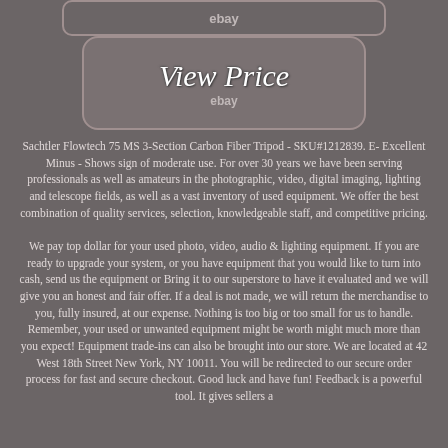[Figure (logo): eBay top bar with rounded rectangle border]
[Figure (other): View Price button box with eBay label below]
Sachtler Flowtech 75 MS 3-Section Carbon Fiber Tripod - SKU#1212839. E- Excellent Minus - Shows sign of moderate use. For over 30 years we have been serving professionals as well as amateurs in the photographic, video, digital imaging, lighting and telescope fields, as well as a vast inventory of used equipment. We offer the best combination of quality services, selection, knowledgeable staff, and competitive pricing.

We pay top dollar for your used photo, video, audio & lighting equipment. If you are ready to upgrade your system, or you have equipment that you would like to turn into cash, send us the equipment or Bring it to our superstore to have it evaluated and we will give you an honest and fair offer. If a deal is not made, we will return the merchandise to you, fully insured, at our expense. Nothing is too big or too small for us to handle. Remember, your used or unwanted equipment might be worth might much more than you expect! Equipment trade-ins can also be brought into our store. We are located at 42 West 18th Street New York, NY 10011. You will be redirected to our secure order process for fast and secure checkout. Good luck and have fun! Feedback is a powerful tool. It gives sellers a